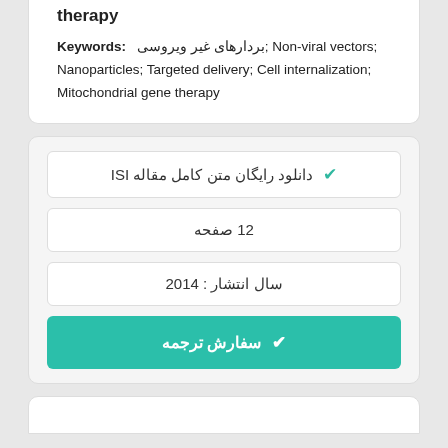therapy
Keywords: بردارهای غیر ویروسی; Non-viral vectors; Nanoparticles; Targeted delivery; Cell internalization; Mitochondrial gene therapy
✔ دانلود رایگان متن کامل مقاله ISI
12 صفحه
سال انتشار : 2014
✔ سفارش ترجمه